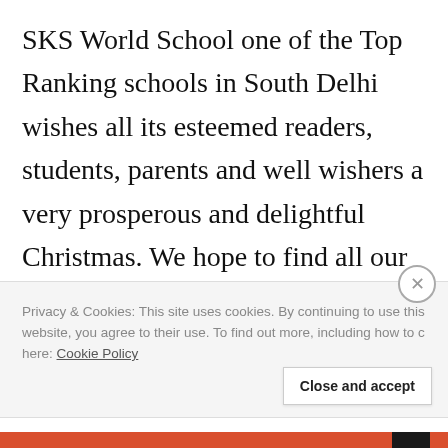SKS World School one of the Top Ranking schools in South Delhi wishes all its esteemed readers, students, parents and well wishers a very prosperous and delightful Christmas. We hope to find all our readers in good health and Great Spirit. Christmas is celebrated to
Privacy & Cookies: This site uses cookies. By continuing to use this website, you agree to their use. To find out more, including how to control cookies, see here: Cookie Policy